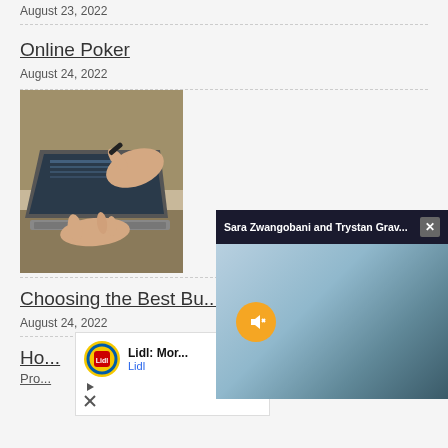August 23, 2022
Online Poker
August 24, 2022
[Figure (photo): Person pointing at laptop screen with another person typing on laptop keyboard]
Choosing the Best Bu...
August 24, 2022
Ho...
Pro...
[Figure (screenshot): Ad overlay: Lidl: Mor... with Lidl logo and play/close controls]
[Figure (screenshot): Video overlay: Sara Zwangobani and Trystan Grav... with group photo, mute button, and close button]